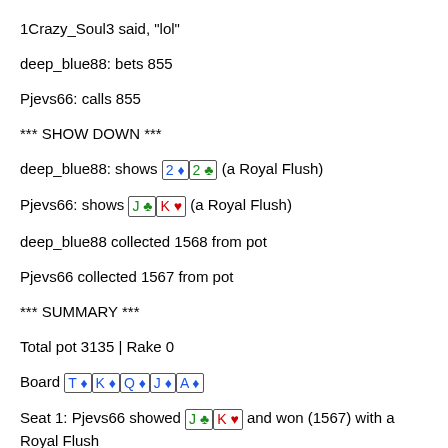1Crazy_Soul3 said, "lol"
deep_blue88: bets 855
Pjevs66: calls 855
*** SHOW DOWN ***
deep_blue88: shows [2♦][2♣] (a Royal Flush)
Pjevs66: shows [J♣][K♥] (a Royal Flush)
deep_blue88 collected 1568 from pot
Pjevs66 collected 1567 from pot
*** SUMMARY ***
Total pot 3135 | Rake 0
Board [T♦][K♦][Q♦][J♦][A♦]
Seat 1: Pjevs66 showed [J♣][K♥] and won (1567) with a Royal Flush
Seat 2: Displaceed (button) folded before Flop (didn't bet)